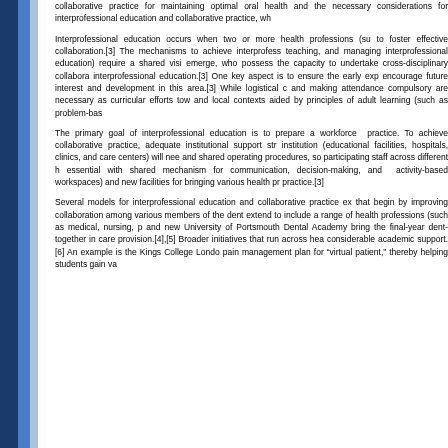collaborative practice for maintaining optimal oral health and the necessary considerations for interprofessional education and collaborative practice, wh...
Interprofessional education occurs when two or more health professions (su... to foster effective collaboration.[3] The mechanisms to achieve interprofess... teaching, and managing interprofessional education) require a shared visi... emerge, who possess the capacity to undertake cross-disciplinary collabora... interprofessional education.[3] One key aspect is to ensure the early exp... encourage future interest and development in this area.[3] While logistical ... and making attendance compulsory are necessary as curricular efforts tow... and local contexts aided by principles of adult learning (such as problem-bas...
The primary goal of interprofessional education is to prepare a workforce ... practice. To achieve collaborative practice, adequate institutional support str... institution (educational facilities, hospitals, clinics, and care centers) will nee... and shared operating procedures, so participating staff across different h... essential with shared mechanism for communication, decision-making, and ... activity-based workspaces) and new facilities for bringing various health pr... practice.[3]
Several models for interprofessional education and collaborative practice ex... that begin by improving collaboration among various members of the dent... extend to include a range of health professions (such as medical, nursing, p... and new University of Portsmouth Dental Academy bring the final-year dent... together in care provision.[4],[5] Broader initiatives that run across hea... considerable academic support.[6] An example is the Kings College Londo... pain management plan for "virtual patient," thereby helping students gain va...